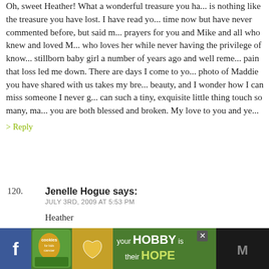Oh, sweet Heather! What a wonderful treasure you ha... is nothing like the treasure you have lost. I have read yo... time now but have never commented before, but said m... prayers for you and Mike and all who knew and loved M... who loves her while never having the privilege of know... stillborn baby girl a number of years ago and well reme... pain that loss led me down. There are days I come to yo... photo of Maddie you have shared with us takes my bre... beauty, and I wonder how I can miss someone I never g... can such a tiny, exquisite little thing touch so many, ma... you are both blessed and broken. My love to you and ye...
> Reply
120. Jenelle Hogue says: JULY 3RD, 2009 AT 5:53 PM

Heather
Someone wanted you to have all those videos. i am so h... memory card worked for you. I look forward to watchin...
[Figure (other): Advertisement banner at bottom: green background with cookies for kids cancer logo, heart-shaped cookie image, text 'your HOBBY is their HOPE', close button X, and social icon on right.]